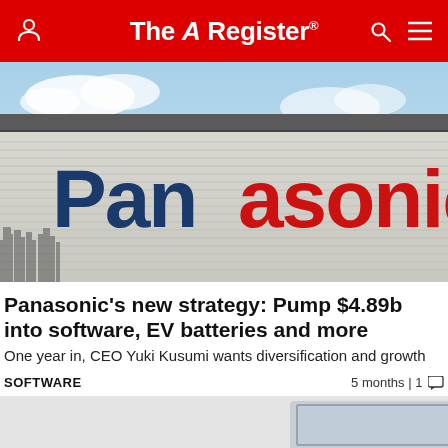The Register
[Figure (photo): Panasonic building exterior with large Panasonic logo sign, blue sky background with bare trees]
Panasonic's new strategy: Pump $4.89b into software, EV batteries and more
One year in, CEO Yuki Kusumi wants diversification and growth
SOFTWARE	5 months | 1 comment
[Figure (photo): Partial view of a laptop or tablet device on light grey background]